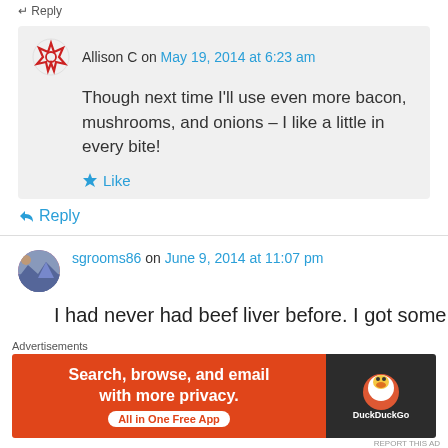Allison C on May 19, 2014 at 6:23 am
Though next time I'll use even more bacon, mushrooms, and onions – I like a little in every bite!
Like
Reply
sgrooms86 on June 9, 2014 at 11:07 pm
I had never had beef liver before. I got some as
Advertisements
[Figure (screenshot): DuckDuckGo advertisement banner: orange left section with text 'Search, browse, and email with more privacy. All in One Free App', dark right section with DuckDuckGo logo]